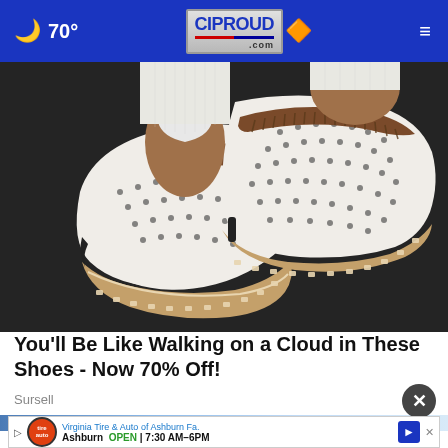🌙 70° — CIPROUD.com — menu
[Figure (photo): Close-up photo of two white slip-on shoes with brown/tan striped elastic band across the top and perforated texture on the upper, with a rope-stitched espadrille-style sole, worn by a person with white pants standing on a dark surface.]
You'll Be Like Walking on a Cloud in These Shoes - Now 70% Off!
Sursell
[Figure (screenshot): Advertisement banner for Virginia Tire & Auto of Ashburn Fa. showing Ashburn OPEN | 7:30AM-6PM with a Tires Plus logo and a blue directional sign arrow.]